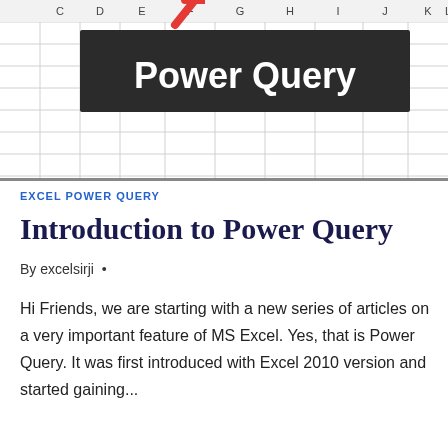[Figure (screenshot): Excel spreadsheet screenshot with column headers C D E F G H I J K L visible, and a dark banner overlay with white bold text reading 'Power Query', with a red arrow pointing to the F column header area]
EXCEL POWER QUERY
Introduction to Power Query
By excelsirji •
Hi Friends, we are starting with a new series of articles on a very important feature of MS Excel. Yes, that is Power Query. It was first introduced with Excel 2010 version and started gaining...